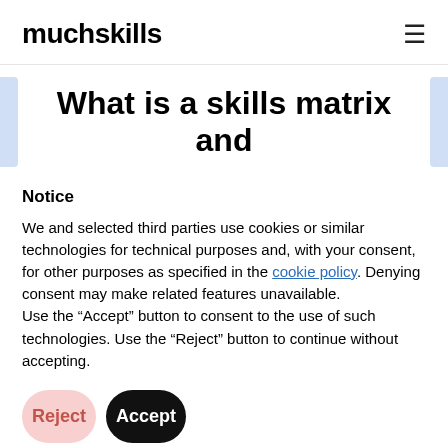muchskills
What is a skills matrix and
Notice
We and selected third parties use cookies or similar technologies for technical purposes and, with your consent, for other purposes as specified in the cookie policy. Denying consent may make related features unavailable.
Use the “Accept” button to consent to the use of such technologies. Use the “Reject” button to continue without accepting.
Reject
Accept
Learn more and customize